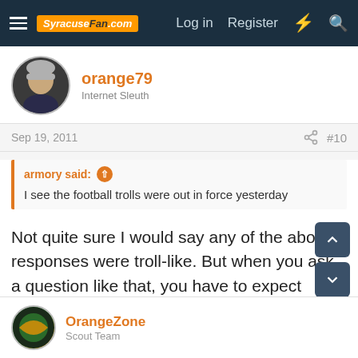SyracuseFan.com — Log in  Register
orange79
Internet Sleuth
Sep 19, 2011  #10
armory said:
I see the football trolls were out in force yesterday
Not quite sure I would say any of the above responses were troll-like. But when you ask a question like that, you have to expect answers like that. Truly, not sure why recruits would back out. Trading SH and DP for Miami and GTech - why would a recruit back out? Unless they lived in South Orange, NJ?
OrangeZone
Scout Team